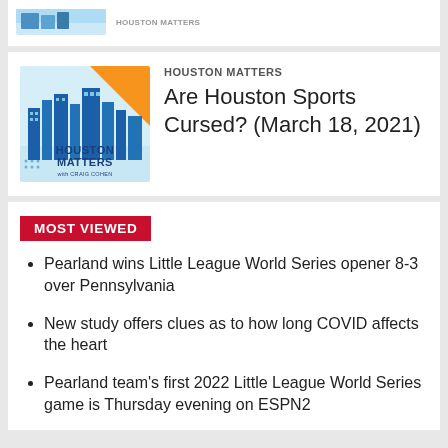[Figure (screenshot): Partial top card with a small thumbnail image (partial view, cropped at top)]
[Figure (logo): Houston Matters with Craig Cohen podcast logo — blue city skyline with orange triangle in top right, text 'HOUSTON MATTERS with CRAIG COHEN' in blue]
HOUSTON MATTERS
Are Houston Sports Cursed? (March 18, 2021)
MOST VIEWED
Pearland wins Little League World Series opener 8-3 over Pennsylvania
New study offers clues as to how long COVID affects the heart
Pearland team's first 2022 Little League World Series game is Thursday evening on ESPN2